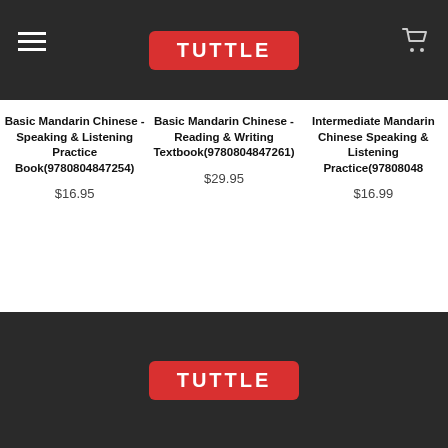TUTTLE
Basic Mandarin Chinese - Speaking & Listening Practice Book(9780804847254)
$16.95
Basic Mandarin Chinese - Reading & Writing Textbook(9780804847261)
$29.95
Intermediate Mandarin Chinese Speaking & Listening Practice(97808048...
$16.99
TUTTLE